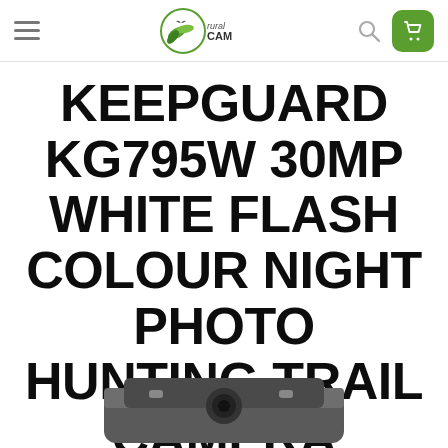[Figure (logo): RuralCAM logo with green leaf icon and text]
KEEPGUARD KG795W 30MP WHITE FLASH COLOUR NIGHT PHOTO HUNTING TRAIL CAMERA
[Figure (photo): Partial view of a trail camera device at the bottom of the page]